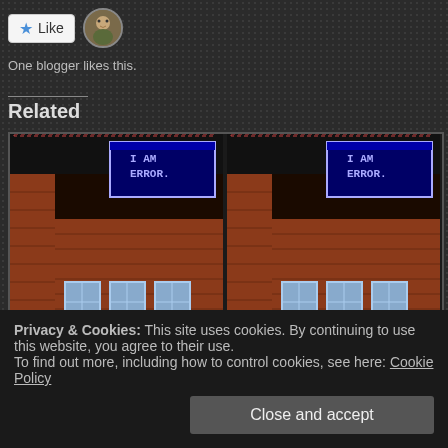[Figure (screenshot): Like button with blue star and blogger avatar]
One blogger likes this.
Related
[Figure (screenshot): Two side-by-side retro NES game screenshots showing a brick building with 'I AM ERROR.' dialog box, and a small character and creature at the bottom]
Just going Through Some of The Spam Here on WordPress
Just going Through Some of The Spam Here on WordPress
July 2, 2015
July 2, 2015
Privacy & Cookies: This site uses cookies. By continuing to use this website, you agree to their use.
To find out more, including how to control cookies, see here: Cookie Policy
Close and accept